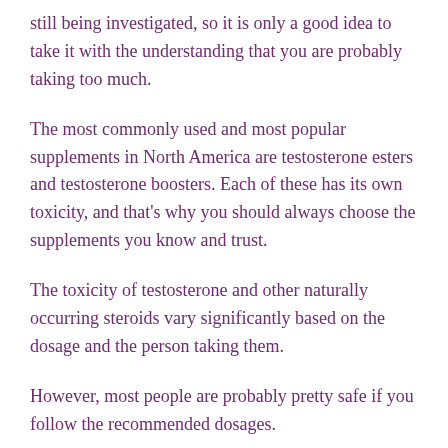still being investigated, so it is only a good idea to take it with the understanding that you are probably taking too much.
The most commonly used and most popular supplements in North America are testosterone esters and testosterone boosters. Each of these has its own toxicity, and that's why you should always choose the supplements you know and trust.
The toxicity of testosterone and other naturally occurring steroids vary significantly based on the dosage and the person taking them.
However, most people are probably pretty safe if you follow the recommended dosages.